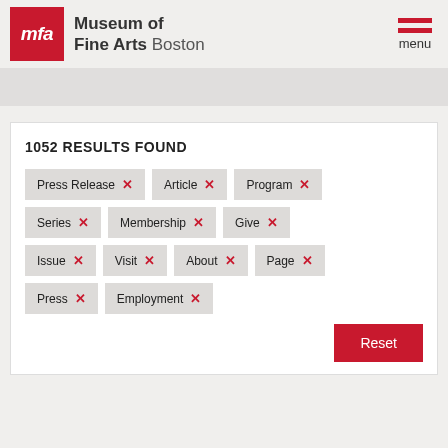[Figure (logo): Museum of Fine Arts Boston logo with red MFA square and text]
1052 RESULTS FOUND
Press Release ×
Article ×
Program ×
Series ×
Membership ×
Give ×
Issue ×
Visit ×
About ×
Page ×
Press ×
Employment ×
Reset